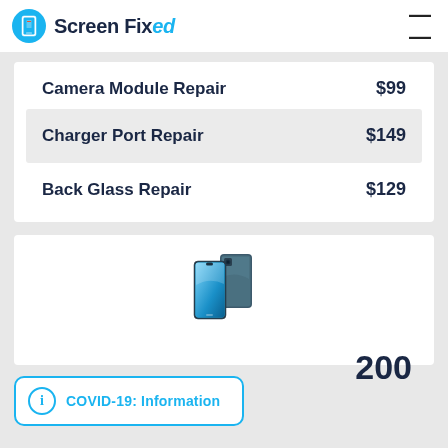Screen Fixed
| Service | Price |
| --- | --- |
| Camera Module Repair | $99 |
| Charger Port Repair | $149 |
| Back Glass Repair | $129 |
[Figure (photo): A dark blue/green smartphone (Oppo Reno or similar) shown front and back view]
200
COVID-19: Information